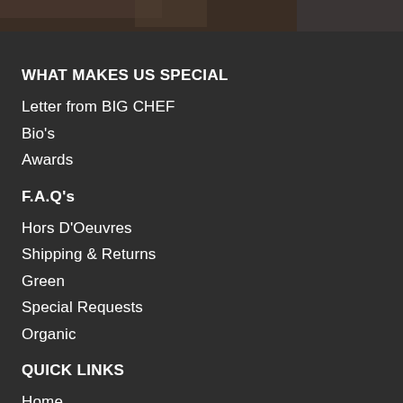[Figure (photo): Dark photo bar at top of page showing partial food/chef imagery]
WHAT MAKES US SPECIAL
Letter from BIG CHEF
Bio's
Awards
F.A.Q's
Hors D'Oeuvres
Shipping & Returns
Green
Special Requests
Organic
QUICK LINKS
Home